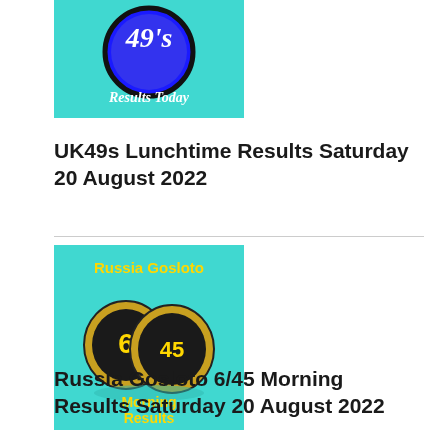[Figure (illustration): UK49s lottery logo on teal/cyan background with blue circle showing '49s' text and 'Results Today' text below]
UK49s Lunchtime Results Saturday 20 August 2022
[Figure (illustration): Russia Gosloto 6/45 lottery logo on teal/cyan background with two lottery balls showing numbers 6 and 45 and 'Morning Results' text]
Russia Gosloto 6/45 Morning Results Saturday 20 August 2022